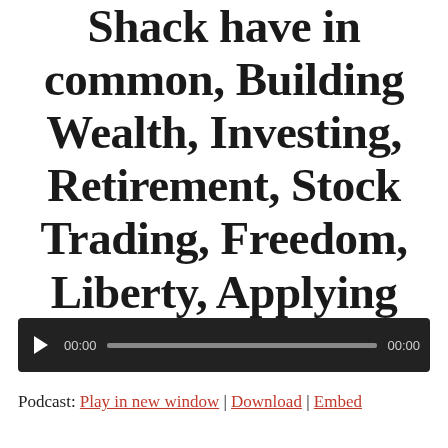Shack have in common, Building Wealth, Investing, Retirement, Stock Trading, Freedom, Liberty, Applying History
[Figure (other): Audio player widget with play button, time display 00:00, progress bar, and end time 00:00 on dark background]
Podcast: Play in new window | Download | Embed